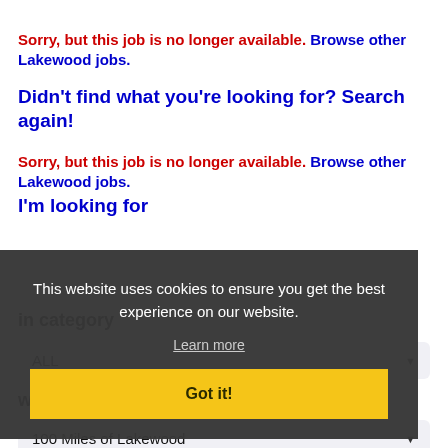Sorry, but this job is no longer available. Browse other Lakewood jobs.
Didn't find what you're looking for? Search again!
Sorry, but this job is no longer available. Browse other Lakewood jobs.
I'm looking for
[Figure (screenshot): Cookie consent overlay on dark background with text: 'This website uses cookies to ensure you get the best experience on our website.' with a 'Learn more' link and a yellow 'Got it!' button]
in category
ALL
within
100 Miles of Lakewood